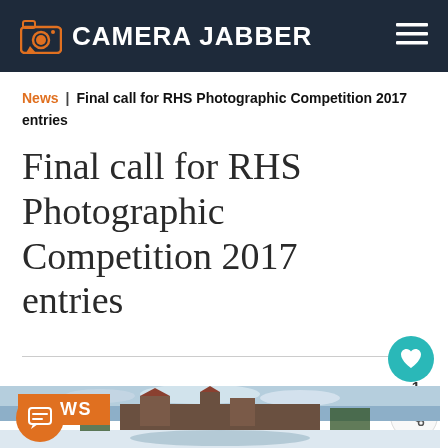CAMERA JABBER
News | Final call for RHS Photographic Competition 2017 entries
Final call for RHS Photographic Competition 2017 entries
[Figure (photo): Winter scene of a historic manor house with snow-covered grounds and a frozen pond, with an orange NEWS badge overlay in the top-left corner]